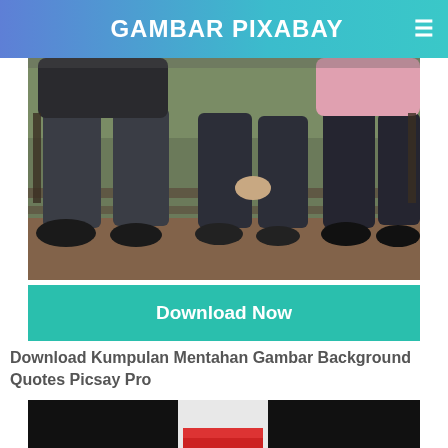GAMBAR PIXABAY
[Figure (photo): Two people sitting on a bench outdoors, lower bodies visible. One wearing jeans and black sneakers, another wearing dark pants and black boots, with a pink-jacketed person partially visible.]
Download Now
Download Kumpulan Mentahan Gambar Background Quotes Picsay Pro
[Figure (photo): Partial view of a photo with black background showing what appears to be a red and white object.]